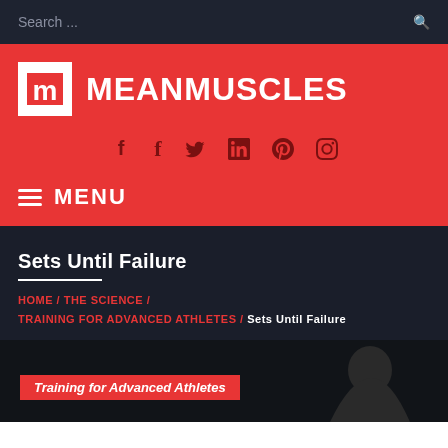Search ...
MEANMUSCLES
[Figure (logo): MeanMuscles logo with stylized M in white box on red background]
[Figure (infographic): Social media icons: Facebook, Twitter, LinkedIn, Pinterest, Instagram]
MENU
Sets Until Failure
HOME / THE SCIENCE / TRAINING FOR ADVANCED ATHLETES / Sets Until Failure
[Figure (photo): Article preview image showing Training for Advanced Athletes tag with a person silhouette on dark background]